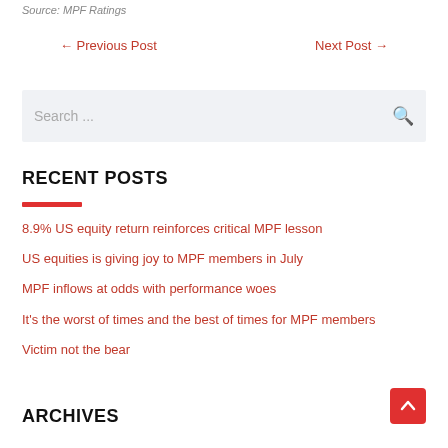Source: MPF Ratings
← Previous Post    Next Post →
Search ...
RECENT POSTS
8.9% US equity return reinforces critical MPF lesson
US equities is giving joy to MPF members in July
MPF inflows at odds with performance woes
It's the worst of times and the best of times for MPF members
Victim not the bear
ARCHIVES